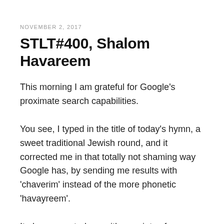NOVEMBER 2, 2017
STLT#400, Shalom Havareem
This morning I am grateful for Google's proximate search capabilities.
You see, I typed in the title of today's hymn, a sweet traditional Jewish round, and it corrected me in that totally not shaming way Google has, by sending me results with 'chaverim' instead of the more phonetic 'havayreem'.
It also presented me with a variety of YouTube